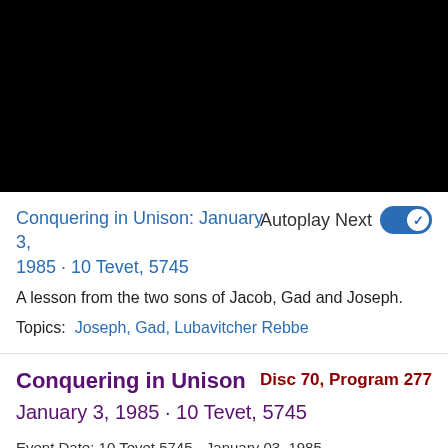[Figure (other): Black video player panel]
Conquering in Unison: January 3, 1985 · 10 Tevet, 5745
Autoplay Next (toggle on)
A lesson from the two sons of Jacob, Gad and Joseph.
Topics: Joseph, Gad, Lubavitcher Rebbe
Conquering in Unison
Disc 70, Program 277
January 3, 1985 · 10 Tevet, 5745
Event Date: 10 Tevet 5745 - January 03, 1985